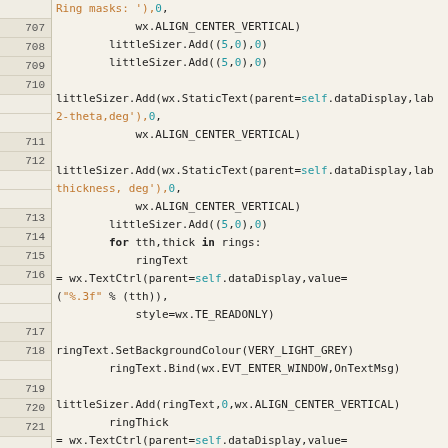[Figure (screenshot): Source code editor screenshot showing Python code lines 707-727 with syntax highlighting. Line numbers on left in tan/beige background, code on right. Keywords in bold black, strings in orange, numeric literals and 'self' in teal/blue.]